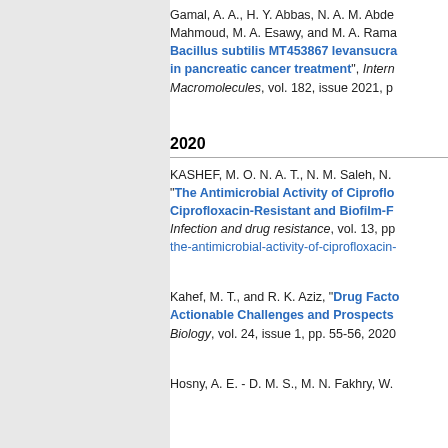Gamal, A. A., H. Y. Abbas, N. A. M. Abde…, Mahmoud, M. A. Esawy, and M. A. Rama…, "Bacillus subtilis MT453867 levansucra… in pancreatic cancer treatment", Intern… Macromolecules, vol. 182, issue 2021, p…
2020
KASHEF, M. O. N. A. T., N. M. Saleh, N.… "The Antimicrobial Activity of Ciproflo… Ciprofloxacin-Resistant and Biofilm-F… Infection and drug resistance, vol. 13, pp… the-antimicrobial-activity-of-ciprofloxacin-…
Kahef, M. T., and R. K. Aziz, "Drug Facto… Actionable Challenges and Prospects… Biology, vol. 24, issue 1, pp. 55-56, 2020…
Hosny, A. E. - D. M. S., M. N. Fakhry, W.…